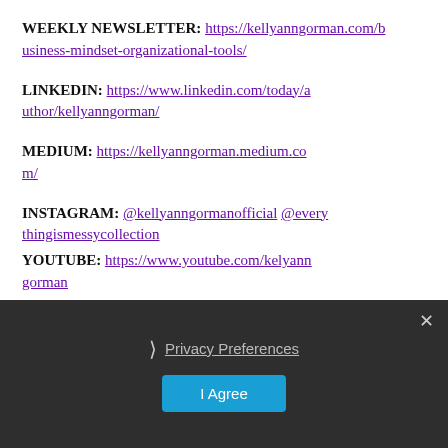WEEKLY NEWSLETTER: https://kellyanngorman.com/business-mindset-organizational-tools/
LINKEDIN: https://www.linkedin.com/today/author/kellyanngorman/
MEDIUM: https://kellyanngorman.medium.com/
INSTAGRAM: @kellyanngormanofficial @everythingismessycollection
YOUTUBE: https://www.youtube.com/kellyanngorman
Privacy Preferences
I Agree